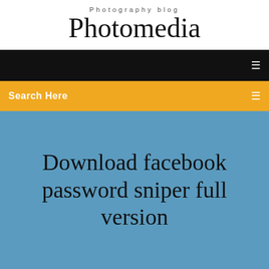Photography blog
Photomedia
Search Here
Download facebook password sniper full version